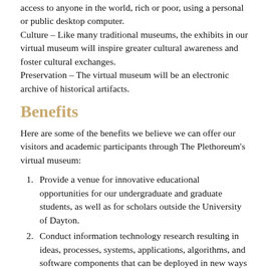access to anyone in the world, rich or poor, using a personal or public desktop computer. Culture – Like many traditional museums, the exhibits in our virtual museum will inspire greater cultural awareness and foster cultural exchanges. Preservation – The virtual museum will be an electronic archive of historical artifacts.
Benefits
Here are some of the benefits we believe we can offer our visitors and academic participants through The Plethoreum's virtual museum:
Provide a venue for innovative educational opportunities for our undergraduate and graduate students, as well as for scholars outside the University of Dayton.
Conduct information technology research resulting in ideas, processes, systems, applications, algorithms, and software components that can be deployed in new ways for new disciplines.